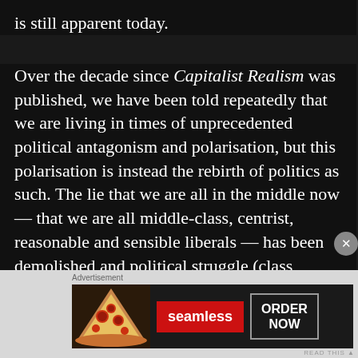is still apparent today.
Over the decade since Capitalist Realism was published, we have been told repeatedly that we are living in times of unprecedented political antagonism and polarisation, but this polarisation is instead the rebirth of politics as such. The lie that we are all in the middle now — that we are all middle-class, centrist, reasonable and sensible liberals — has been demolished and political struggle (class struggle, even) is back on the agenda, but we still struggle to see our present circumstances beyond the lens of capitalist realism. Still, things are not as they once were. It is clear a new language and a new framework that reflects the
[Figure (other): Advertisement banner for Seamless food delivery service showing pizza image on left, red Seamless logo in center, and ORDER NOW button on right, on a dark background. An X close button overlaps the top-right of the ad.]